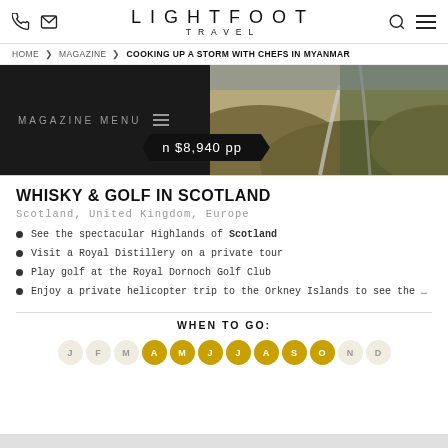LIGHTFOOT TRAVEL
HOME > MAGAZINE > COOKING UP A STORM WITH CHEFS IN MYANMAR
MAGAZINE MENU
n $8,940 pp
WHISKY & GOLF IN SCOTLAND
Scotland, United Kingdom, Europe
See the spectacular Highlands of Scotland
Visit a Royal Distillery on a private tour
Play golf at the Royal Dornoch Golf Club
Enjoy a private helicopter trip to the Orkney Islands to see the …
WHEN TO GO:
[Figure (infographic): Month circles showing best travel months: J F M A M J J A S O N D with April, May, June, July, August, September, October highlighted in gold/amber]